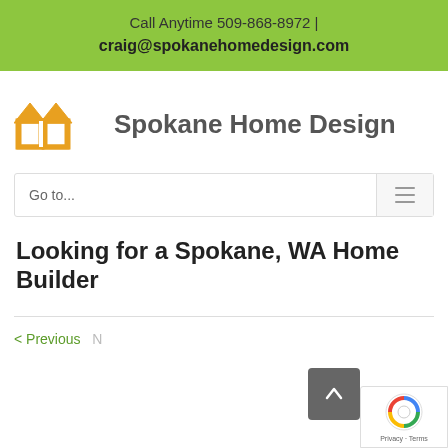Call Anytime 509-868-8972  |  craig@spokanehomedesign.com
[Figure (logo): Spokane Home Design logo with two house outlines in gold/yellow and the text 'Spokane Home Design' in dark gray]
Go to...
Looking for a Spokane, WA Home Builder
< Previous  Next